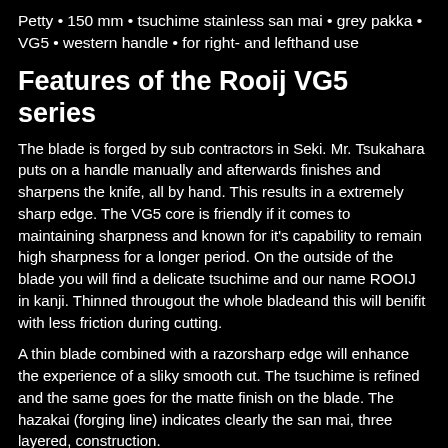Petty • 150 mm • tsuchime stainless san mai • grey pakka • VG5 • western handle • for right- and lefthand use
Features of the Rooij VG5 series
The blade is forged by sub contractors in Seki. Mr. Tsukahara puts on a handle manually and afterwards finishes and sharpens the knife, all by hand. This results in a extremely sharp edge. The VG5 core is friendly if it comes to maintaining sharpness and known for it's capability to remain high sharpness for a longer period. On the outside of the blade you will find a delicate tsuchime and our name ROOIJ in kanji. Thinned througout the whole bladeand this will benifit with less friction during cutting.
A thin blade combined with a razorsharp edge will enhance the experience of a sliky smooth cut. The tsuchime is refined and the same goes for the matte finish on the blade. The hazakai (forging line) indicates clearly the san mai, three layered, construction.
The choil is rounded and polished, so it creates a " Finger